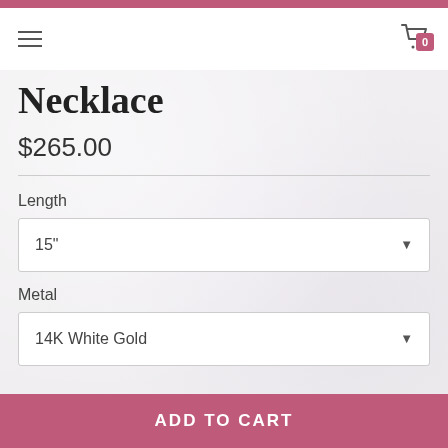Necklace product page header with hamburger menu and cart (0 items)
Necklace
$265.00
Length
15"
Metal
14K White Gold
ADD TO CART